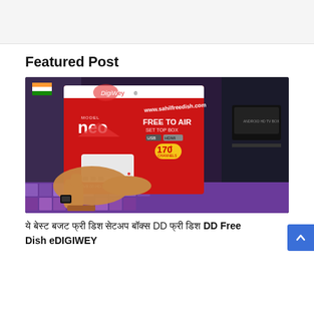Featured Post
[Figure (photo): DigiWey Neo Free To Air Set Top Box product photo — a hand pointing to the box which is red with white and gold text reading 'DigiWey', 'MODEL neo', 'FREE TO AIR SET TOP BOX', '170+ channels', 'www.sahilfreedish.com'. Background shows a shop with colorful patterned surface and an Android HD TV Box visible.]
ये बेस्ट बजट फ्री डिश सेटअप बॉक्स DD Free Dish eDIGIWEY